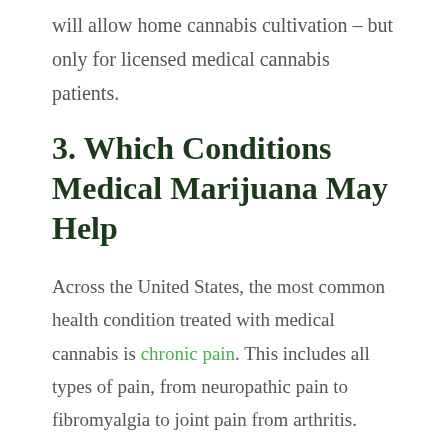will allow home cannabis cultivation – but only for licensed medical cannabis patients.
3. Which Conditions Medical Marijuana May Help
Across the United States, the most common health condition treated with medical cannabis is chronic pain. This includes all types of pain, from neuropathic pain to fibromyalgia to joint pain from arthritis.
Another highly common reason people use medical cannabis is as a sleep aid, even though certain cannabinoids including THC can inhibit